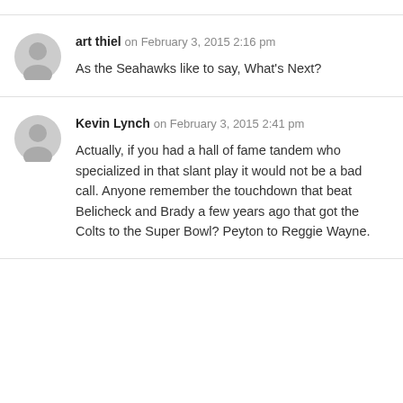art thiel on February 3, 2015 2:16 pm
As the Seahawks like to say, What's Next?
Kevin Lynch on February 3, 2015 2:41 pm
Actually, if you had a hall of fame tandem who specialized in that slant play it would not be a bad call. Anyone remember the touchdown that beat Belicheck and Brady a few years ago that got the Colts to the Super Bowl? Peyton to Reggie Wayne.